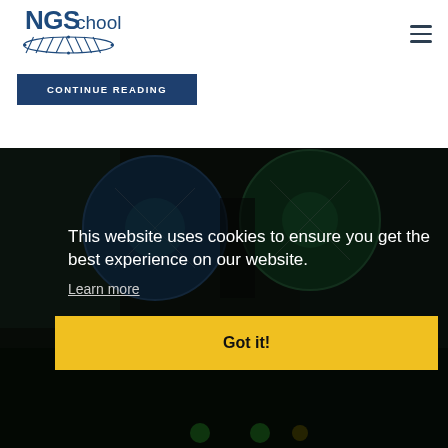[Figure (logo): NGSchool logo with DNA helix graphic, text reads NGSchool]
CONTINUE READING
[Figure (photo): Dark photo background showing colorful circular objects, with a cookie consent overlay banner. The banner contains text: 'This website uses cookies to ensure you get the best experience on our website.' with a 'Learn more' link and a yellow 'Got it!' button.]
This website uses cookies to ensure you get the best experience on our website.
Learn more
Got it!